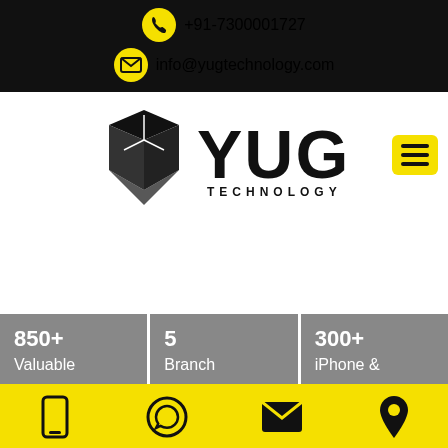+91-7300001727
info@yugtechnology.com
[Figure (logo): YUG Technology logo with black cube icon and bold YUG TECHNOLOGY text]
| 850+
Valuable | 5
Branch | 300+
iPhone & |
[Figure (infographic): Bottom navigation bar with phone, WhatsApp, email, and location icons on yellow background]